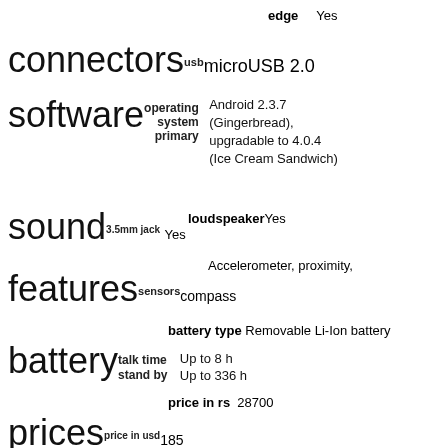edge   Yes
connectors  usb  microUSB 2.0
software  operating system primary  Android 2.3.7 (Gingerbread), upgradable to 4.0.4 (Ice Cream Sandwich)
sound  loudspeaker Yes  3.5mm jack Yes
features  sensors  Accelerometer, proximity, compass
battery  battery type Removable Li-Ion battery  talk time Up to 8 h  stand by Up to 336 h
prices  price in rs 28700  price in usd 185
Reviews (0)